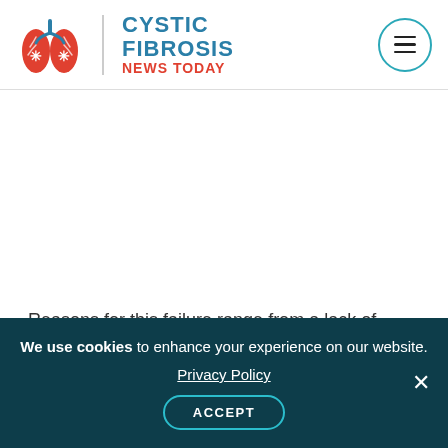[Figure (logo): Cystic Fibrosis News Today logo with red lung illustration and teal/blue text]
Reasons for this failure range from a lack of
We use cookies to enhance your experience on our website. Privacy Policy ACCEPT